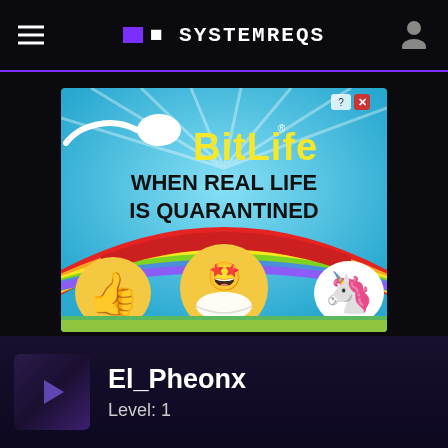SystemReqs
[Figure (illustration): BitLife advertisement banner. Blue sky background with sperm emoji, yellow 'BitLife' logo text with registered trademark. Text reads 'WHEN REAL LIFE IS QUARANTINED'. Bottom shows thumbs up emoji, star-eyes masked face emoji, unicorn emoji, rainbow ribbon. Question mark and X close buttons top right.]
El_Pheonx
Level: 1